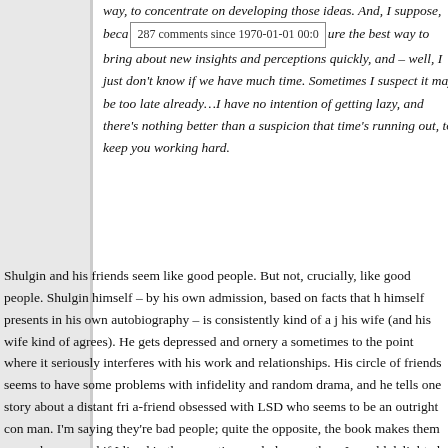way, to concentrate on developing those ideas. And, I suppose, because the best way to bring about new insights and perceptions quickly, and – well, I just don't know if we have much time. Sometimes I suspect it may be too late already…I have no intention of getting lazy, and there's nothing better than a suspicion that time's running out, to keep you working hard.
Shulgin and his friends seem like good people. But not, crucially, like good people. Shulgin himself – by his own admission, based on facts that he himself presents in his own autobiography – is consistently kind of a jerk to his wife (and his wife kind of agrees). He gets depressed and ornery a lot, sometimes to the point where it seriously interferes with his work and relationships. His circle of friends seems to have some problems with infidelity and random drama, and he tells one story about a distant friend-of-a-friend obsessed with LSD who seems to be an outright con man. I'm not saying they're bad people; quite the opposite, the book makes them seem very human and if I lived in the same time and place as them I would be delighted to have the opportunity to know them. But they seem, well, just as good or bad as any other set of intelligent, creative people. It's not clear that their psychedelic use – and man, do these people use psychedelics – has made them morally or spiritually exceptional. It's hard to shake the